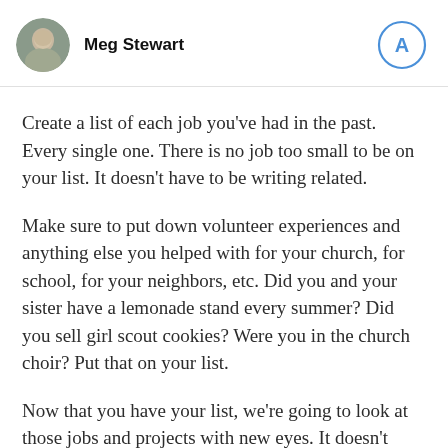Meg Stewart
Create a list of each job you've had in the past. Every single one. There is no job too small to be on your list. It doesn't have to be writing related.
Make sure to put down volunteer experiences and anything else you helped with for your church, for school, for your neighbors, etc. Did you and your sister have a lemonade stand every summer? Did you sell girl scout cookies? Were you in the church choir? Put that on your list.
Now that you have your list, we're going to look at those jobs and projects with new eyes. It doesn't